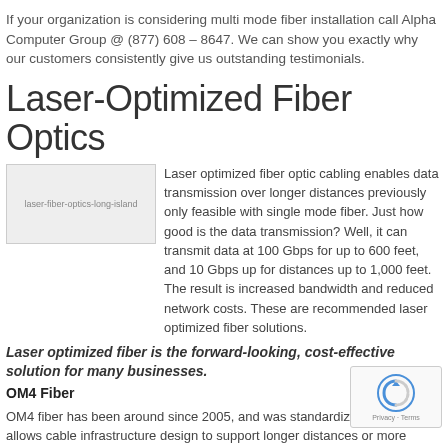If your organization is considering multi mode fiber installation call Alpha Computer Group @ (877) 608 – 8647. We can show you exactly why our customers consistently give us outstanding testimonials.
Laser-Optimized Fiber Optics
[Figure (photo): Image of laser fiber optics long island - a broken/missing image placeholder]
Laser optimized fiber optic cabling enables data transmission over longer distances previously only feasible with single mode fiber. Just how good is the data transmission? Well, it can transmit data at 100 Gbps for up to 600 feet, and 10 Gbps up for distances up to 1,000 feet. The result is increased bandwidth and reduced network costs. These are recommended laser optimized fiber solutions.
Laser optimized fiber is the forward-looking, cost-effective solution for many businesses.
OM4 Fiber
OM4 fiber has been around since 2005, and was standardized in ... fiber allows cable infrastructure design to support longer distances or more